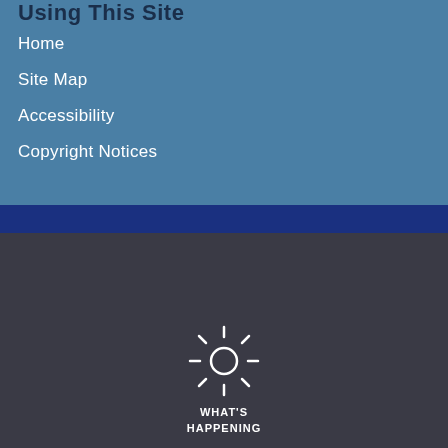Using This Site
Home
Site Map
Accessibility
Copyright Notices
[Figure (illustration): Sun icon with rays and text 'WHAT'S HAPPENING' below]